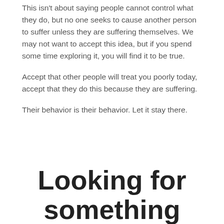This isn't about saying people cannot control what they do, but no one seeks to cause another person to suffer unless they are suffering themselves. We may not want to accept this idea, but if you spend some time exploring it, you will find it to be true.
Accept that other people will treat you poorly today, accept that they do this because they are suffering.
Their behavior is their behavior. Let it stay there.
Looking for something